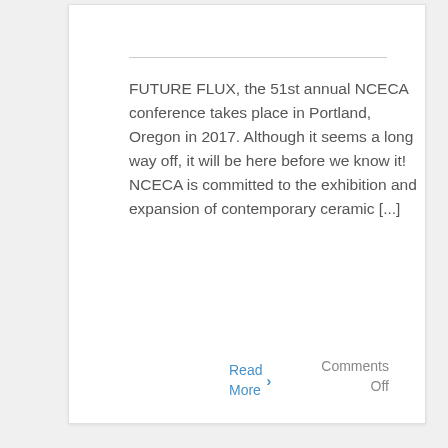FUTURE FLUX, the 51st annual NCECA conference takes place in Portland, Oregon in 2017. Although it seems a long way off, it will be here before we know it!   NCECA is committed to the exhibition and expansion of contemporary ceramic [...]
Read More
Comments Off